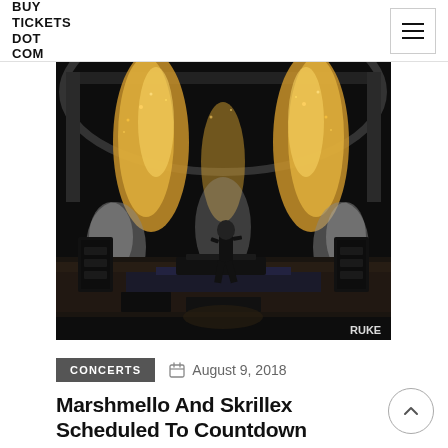BUY TICKETS DOT COM
[Figure (photo): Concert photo showing a DJ/performer on stage with dramatic gold confetti cannons, pyrotechnics, smoke effects, and a massive crowd. Watermark 'RUKE' in bottom right corner.]
CONCERTS   August 9, 2018
Marshmello And Skrillex Scheduled To Countdown